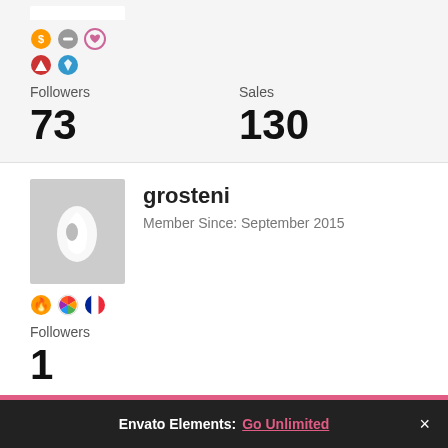[Figure (illustration): Badge icons row (orange coin, gray circle with minus, pink heart outline, red mountain/hat, blue shield) above stats]
Followers
73
Sales
130
[Figure (photo): Profile avatar for grosteni, gray background with white leaf/droplet icon]
grosteni
Member Since: September 2015
[Figure (illustration): Badge icons: orange fire, colorful wheel/pattern, French flag circle]
Followers
1
[Figure (illustration): Green avatar/logo for themezhub with white leaf icon]
themezhub
22 Items
Envato Elements: Go Unlimited ×